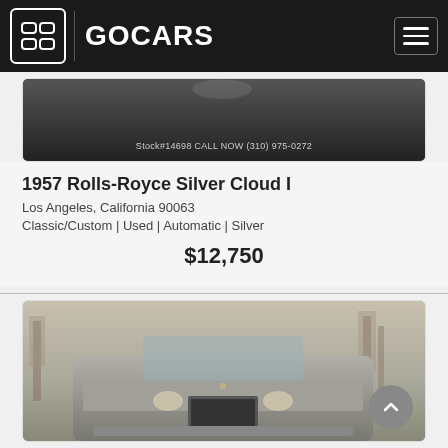GOCARS
[Figure (photo): Partial top view of a classic car, dark/black background, stock number watermark at bottom reading Stock#14698 CALL NOW (310) 975-0272]
1957 Rolls-Royce Silver Cloud I
Los Angeles, California 90063
Classic/Custom | Used | Automatic | Silver
$12,750
[Figure (photo): Front view of a silver classic Rolls-Royce Silver Cloud I parked outdoors with trees decorated with lights in the background]